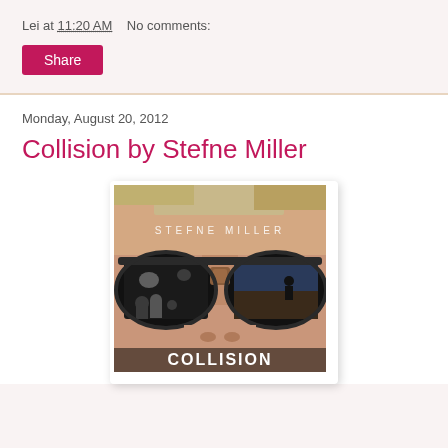Lei at 11:20 AM    No comments:
Share
Monday, August 20, 2012
Collision by Stefne Miller
[Figure (photo): Book cover of 'Collision' by Stefne Miller showing a close-up face with aviator sunglasses reflecting crowd scenes, with author name at top and title at bottom]